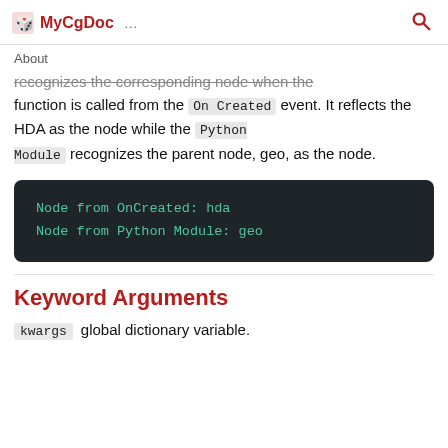MyCgDoc ...
About
recognizes the corresponding node when the function is called from the On Created event. It reflects the HDA as the node while the Python Module recognizes the parent node, geo, as the node.
[Figure (screenshot): Dark code block showing: Node from OnCreated: hda
Node from Python Module: geo]
Keyword Arguments
kwargs global dictionary variable.